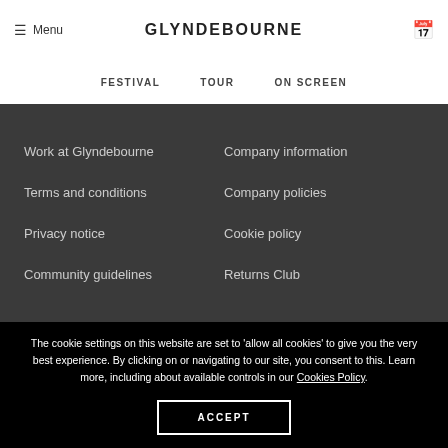Menu | GLYNDEBOURNE
FESTIVAL
TOUR
ON SCREEN
Work at Glyndebourne
Company information
Terms and conditions
Company policies
Privacy notice
Cookie policy
Community guidelines
Returns Club
The cookie settings on this website are set to ‘allow all cookies’ to give you the very best experience. By clicking on or navigating to our site, you consent to this. Learn more, including about available controls in our Cookies Policy.
ACCEPT